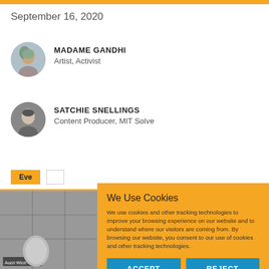September 16, 2020
MADAME GANDHI
Artist, Activist
[Figure (photo): Circular avatar photo of Madame Gandhi]
SATCHIE SNELLINGS
Content Producer, MIT Solve
[Figure (photo): Circular avatar photo of Satchie Snellings]
Eve... (Events button, partially visible)
We Use Cookies
We use cookies and other tracking technologies to improve your browsing experience on our website and to understand where our visitors are coming from. By browsing our website, you consent to our use of cookies and other tracking technologies.
ACCEPT
REJECT
[Figure (photo): Bottom image strip showing two people in a video call screenshot]